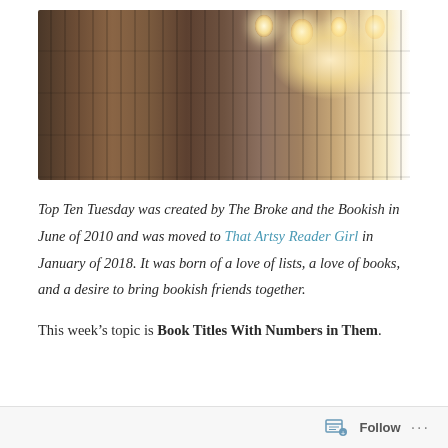[Figure (photo): Photo of a library bookshelf filled with books, viewed in perspective, with hanging Edison light bulbs illuminating the scene from the upper right.]
Top Ten Tuesday was created by The Broke and the Bookish in June of 2010 and was moved to That Artsy Reader Girl in January of 2018. It was born of a love of lists, a love of books, and a desire to bring bookish friends together.
This week's topic is Book Titles With Numbers in Them.
Follow ...